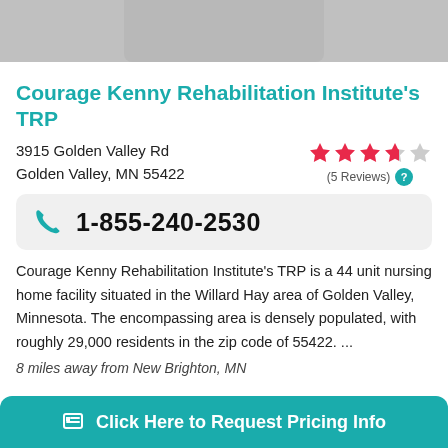[Figure (photo): Photo of elderly patients or residents at a nursing home/rehabilitation facility, partially shown at top of page]
Courage Kenny Rehabilitation Institute's TRP
3915 Golden Valley Rd
Golden Valley, MN 55422
[Figure (infographic): Star rating: 3.5 out of 5 stars (5 Reviews) with help icon]
1-855-240-2530
Courage Kenny Rehabilitation Institute's TRP is a 44 unit nursing home facility situated in the Willard Hay area of Golden Valley, Minnesota. The encompassing area is densely populated, with roughly 29,000 residents in the zip code of 55422. ...
8 miles away from New Brighton, MN
Click Here to Request Pricing Info